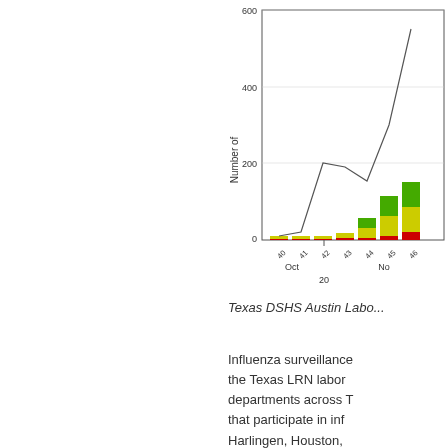[Figure (stacked-bar-chart): Influenza Laboratory Results]
Texas DSHS Austin Labo...
Influenza surveillance the Texas LRN labor departments across T that participate in inf Harlingen, Houston, statewide influenza su